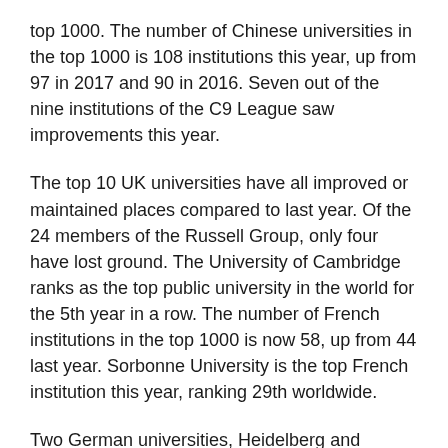top 1000. The number of Chinese universities in the top 1000 is 108 institutions this year, up from 97 in 2017 and 90 in 2016. Seven out of the nine institutions of the C9 League saw improvements this year.
The top 10 UK universities have all improved or maintained places compared to last year. Of the 24 members of the Russell Group, only four have lost ground. The University of Cambridge ranks as the top public university in the world for the 5th year in a row. The number of French institutions in the top 1000 is now 58, up from 44 last year. Sorbonne University is the top French institution this year, ranking 29th worldwide.
Two German universities, Heidelberg and Munich, enter the top 50 for the first time, with nine of the top ten German institutions improving their rankings from last year. Only five universities from Russia, led by Moscow State University at number 126, feature in the top 1000. Elsewhere, the University of Melbourne ranks first in Oceania, the University of São Paulo tops Latin America, and the University of Cape Town ranks